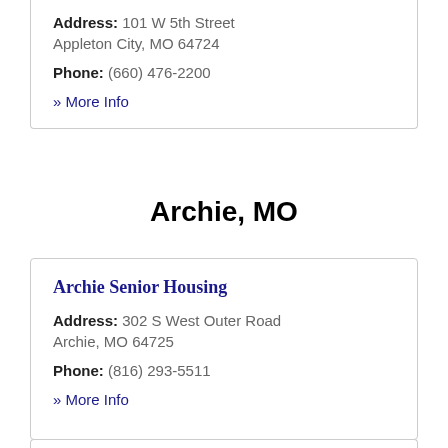Address: 101 W 5th Street Appleton City, MO 64724
Phone: (660) 476-2200
» More Info
Archie, MO
Archie Senior Housing
Address: 302 S West Outer Road Archie, MO 64725
Phone: (816) 293-5511
» More Info